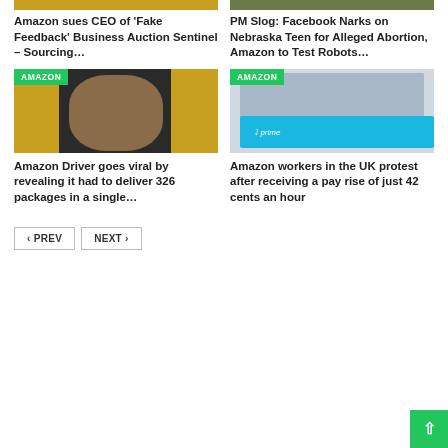Amazon sues CEO of 'Fake Feedback' Business Auction Sentinel – Sourcing…
PM Slog: Facebook Narks on Nebraska Teen for Alleged Abortion, Amazon to Test Robots…
[Figure (photo): Person in Amazon delivery van, yellow background, AMAZON badge]
[Figure (photo): Amazon Prime truck parked near building, AMAZON badge]
Amazon Driver goes viral by revealing it had to deliver 326 packages in a single…
Amazon workers in the UK protest after receiving a pay rise of just 42 cents an hour
< PREV
NEXT >